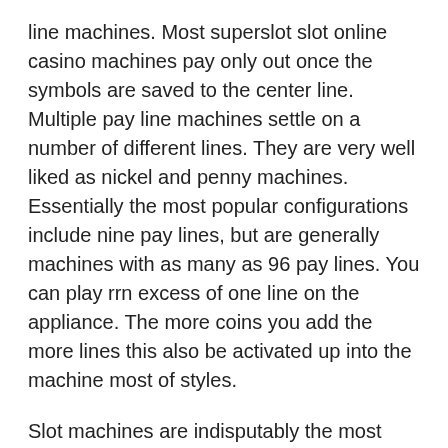line machines. Most superslot slot online casino machines pay only out once the symbols are saved to the center line. Multiple pay line machines settle on a number of different lines. They are very well liked as nickel and penny machines. Essentially the most popular configurations include nine pay lines, but are generally machines with as many as 96 pay lines. You can play rrn excess of one line on the appliance. The more coins you add the more lines this also be activated up into the machine most of styles.
Slot machines are indisputably the most requested of casino games. All of the popular slot s found any kind of land-based casino can be seen online, with more being added on regularly. Slot Machines come in all of the varieties with unique wild symbols, scatters bonus rounds and free spins. Most slot machines will have 3 to five reels with 1 to 50 pay-lines. Placing maximum bets on all pay-lines of a slot machine will greatly increase your odds